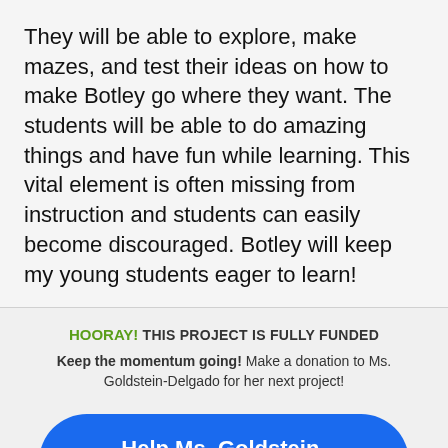They will be able to explore, make mazes, and test their ideas on how to make Botley go where they want. The students will be able to do amazing things and have fun while learning. This vital element is often missing from instruction and students can easily become discouraged. Botley will keep my young students eager to learn!
HOORAY! THIS PROJECT IS FULLY FUNDED
Keep the momentum going! Make a donation to Ms. Goldstein-Delgado for her next project!
Help Ms. Goldstein-Delgado